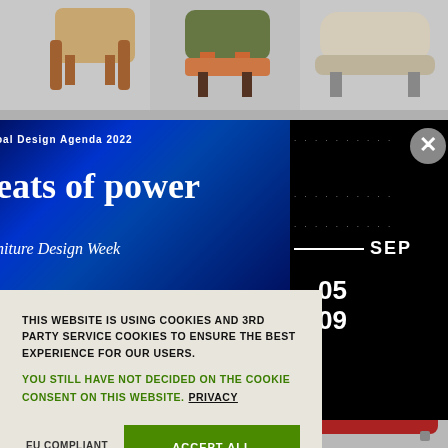[Figure (photo): Top row of furniture/chairs product images on grey background]
[Figure (infographic): Dark blue banner with text 'oal Design Agenda 2022', 'eats of power', 'niture Design Week' and black side panel with SEP, 05, 09]
[Figure (photo): Bottom right: red sofa on grey background]
THIS WEBSITE IS USING COOKIES AND 3RD PARTY SERVICE COOKIES TO ENSURE THE BEST EXPERIENCE FOR OUR USERS.
YOU STILL HAVE NOT DECIDED ON THE COOKIE CONSENT ON THIS WEBSITE. PRIVACY
EU COMPLIANT COOKIES
ACCEPT ALL COOKIES